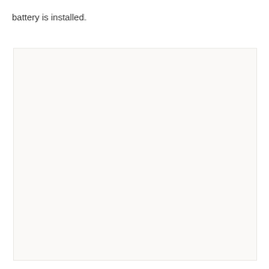battery is installed.
[Figure (photo): Large light-colored rectangular image placeholder area, nearly empty with a warm off-white/cream background.]